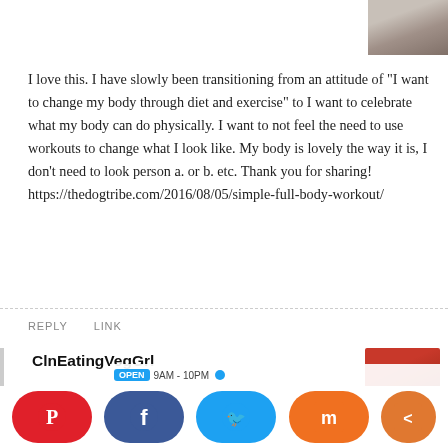[Figure (photo): Profile avatar photo of a person, top right corner]
I love this. I have slowly been transitioning from an attitude of "I want to change my body through diet and exercise" to I want to celebrate what my body can do physically. I want to not feel the need to use workouts to change what I look like. My body is lovely the way it is, I don't need to look person a. or b. etc. Thank you for sharing! https://thedogtribe.com/2016/08/05/simple-full-body-workout/
REPLY   LINK
ClnEatingVegGrl
[Figure (photo): Profile avatar photo of ClnEatingVegGrl, woman in red top]
Yes, yes, yes! It is such a challenging transition to change our mindsets from negative and nit-picky to